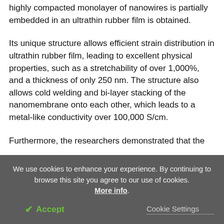highly compacted monolayer of nanowires is partially embedded in an ultrathin rubber film is obtained.
Its unique structure allows efficient strain distribution in ultrathin rubber film, leading to excellent physical properties, such as a stretchability of over 1,000%, and a thickness of only 250 nm. The structure also allows cold welding and bi-layer stacking of the nanomembrane onto each other, which leads to a metal-like conductivity over 100,000 S/cm.
Furthermore, the researchers demonstrated that the
We use cookies to enhance your experience. By continuing to browse this site you agree to our use of cookies. More info.
✔ Accept    Cookie Settings